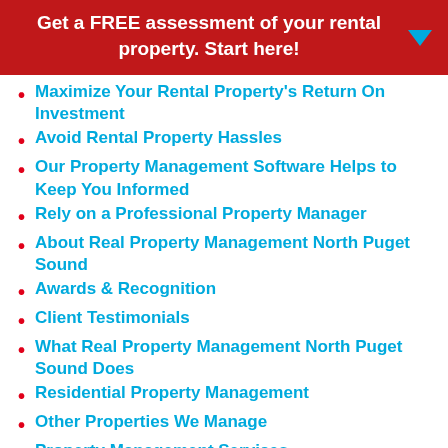Get a FREE assessment of your rental property. Start here!
Maximize Your Rental Property's Return On Investment
Avoid Rental Property Hassles
Our Property Management Software Helps to Keep You Informed
Rely on a Professional Property Manager
About Real Property Management North Puget Sound
Awards & Recognition
Client Testimonials
What Real Property Management North Puget Sound Does
Residential Property Management
Other Properties We Manage
Property Management Services
Property Management Fees & Pricing